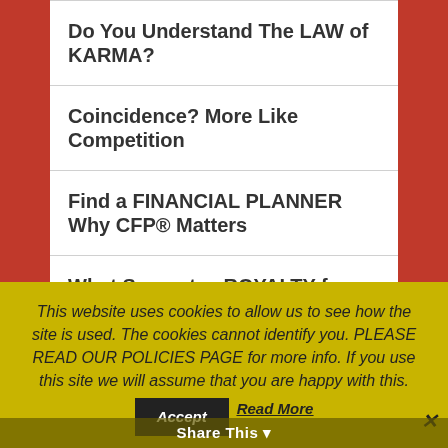Do You Understand The LAW of KARMA?
Coincidence? More Like Competition
Find a FINANCIAL PLANNER Why CFP® Matters
What Separates ROYALTY from SLAVES?
ROBOTS Rising... Job Insecurity, Too
VETERANS MATTER !!!!!!
STICK IT!! Ad–Lesson For Champions
This website uses cookies to allow us to see how the site is used. The cookies cannot identify you. PLEASE READ OUR POLICIES PAGE for more info. If you use this site we will assume that you are happy with this.
Share This